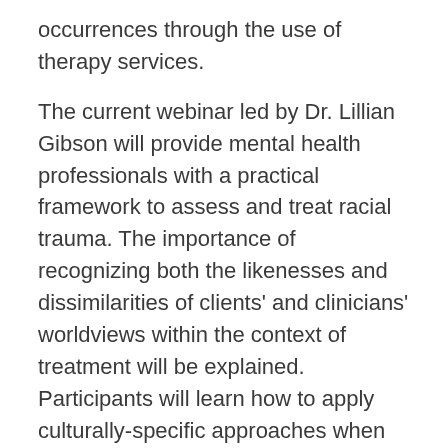occurrences through the use of therapy services.
The current webinar led by Dr. Lillian Gibson will provide mental health professionals with a practical framework to assess and treat racial trauma. The importance of recognizing both the likenesses and dissimilarities of clients' and clinicians' worldviews within the context of treatment will be explained. Participants will learn how to apply culturally-specific approaches when exploring trauma experiences and implement client-centered interventions.
The on-line training will use a case vignette to guide the presentation and uncover mistakes that can be made when cultural considerations are not utilized.
Participants will leave the webinar with a clear